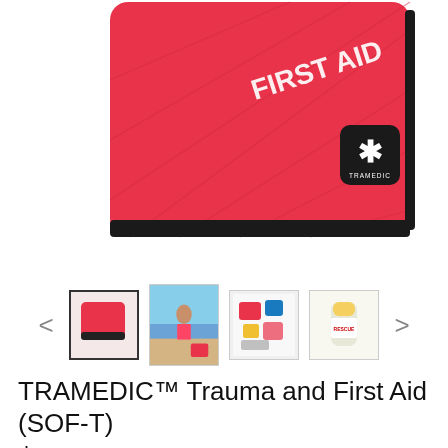[Figure (photo): Red TRAMEDIC first aid kit bag with 'FIRST AID' text and TRAMEDIC logo with asterisk on a black square patch, zipper visible on right side, white background]
[Figure (photo): Thumbnail row showing four product images: (1) selected - red first aid bag, (2) beach scene with red bag, (3) open bag contents, (4) white container/bottle]
TRAMEDIC™ Trauma and First Aid (SOF-T)
$108.00